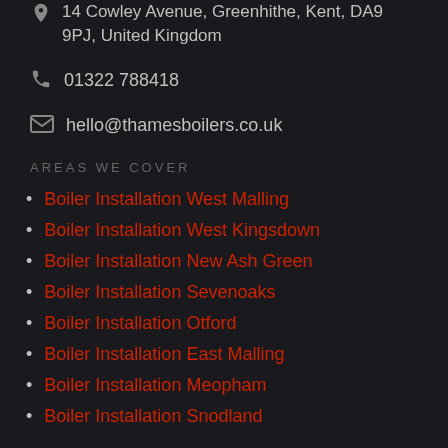14 Cowley Avenue, Greenhithe, Kent, DA9 9PJ, United Kingdom
01322 788418
hello@thamesboilers.co.uk
AREAS WE COVER
Boiler Installation West Malling
Boiler Installation West Kingsdown
Boiler Installation New Ash Green
Boiler Installation Sevenoaks
Boiler Installation Otford
Boiler Installation East Malling
Boiler Installation Meopham
Boiler Installation Snodland